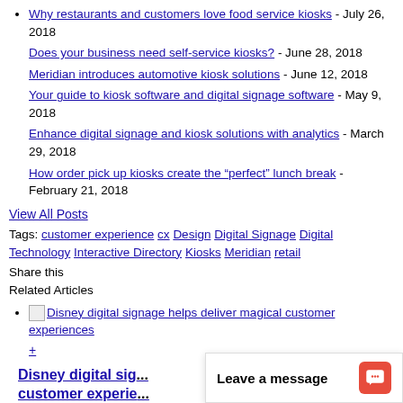Why restaurants and customers love food service kiosks - July 26, 2018
Does your business need self-service kiosks? - June 28, 2018
Meridian introduces automotive kiosk solutions - June 12, 2018
Your guide to kiosk software and digital signage software - May 9, 2018
Enhance digital signage and kiosk solutions with analytics - March 29, 2018
How order pick up kiosks create the “perfect” lunch break - February 21, 2018
View All Posts
Tags: customer experience cx Design Digital Signage Digital Technology Interactive Directory Kiosks Meridian retail
Share this
Related Articles
Disney digital signage helps deliver magical customer experiences
+
Disney digital signage helps deliver magical customer experiences